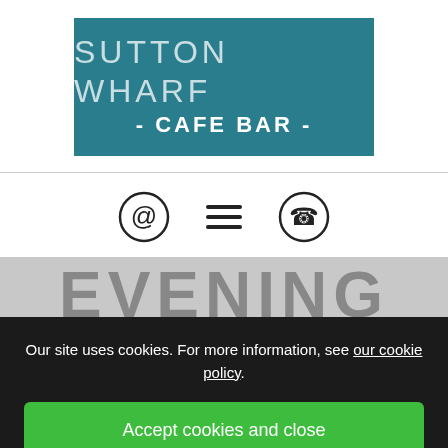[Figure (logo): Sutton Wharf Cafe Bar logo — teal rectangle with white text reading SUTTON WHARF - CAFE BAR -]
[Figure (infographic): Three navigation icons: email (@), hamburger menu (three lines), and phone icon in circles]
EVENING
Our site uses cookies. For more information, see our cookie policy.
Accept cookies and close
Reject cookies
Manage settings